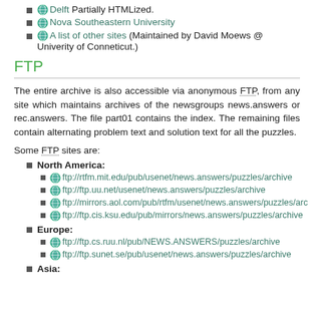Delft Partially HTMLized.
Nova Southeastern University
A list of other sites (Maintained by David Moews @ Univerity of Conneticut.)
FTP
The entire archive is also accessible via anonymous FTP, from any site which maintains archives of the newsgroups news.answers or rec.answers. The file part01 contains the index. The remaining files contain alternating problem text and solution text for all the puzzles.
Some FTP sites are:
North America:
ftp://rtfm.mit.edu/pub/usenet/news.answers/puzzles/archive
ftp://ftp.uu.net/usenet/news.answers/puzzles/archive
ftp://mirrors.aol.com/pub/rtfm/usenet/news.answers/puzzles/arc
ftp://ftp.cis.ksu.edu/pub/mirrors/news.answers/puzzles/archive
Europe:
ftp://ftp.cs.ruu.nl/pub/NEWS.ANSWERS/puzzles/archive
ftp://ftp.sunet.se/pub/usenet/news.answers/puzzles/archive
Asia: